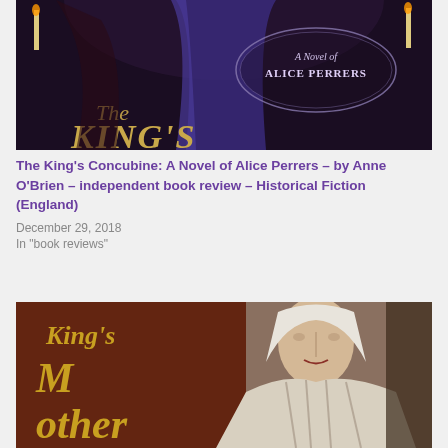[Figure (illustration): Book cover of 'The King's Concubine: A Novel of Alice Perrers' showing a woman in a blue/purple gown with candles in a dark medieval setting, text 'A Novel of ALICE PERRERS' and 'The KING'S' visible]
The King's Concubine: A Novel of Alice Perrers – by Anne O'Brien – independent book review – Historical Fiction (England)
December 29, 2018
In "book reviews"
[Figure (illustration): Partial book cover showing 'King's Mother' text on brown background with illustration of an elderly figure in medieval ecclesiastical robes]